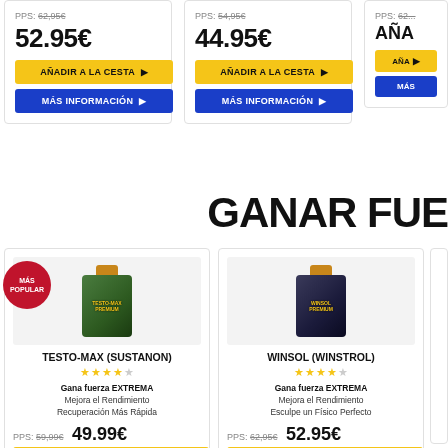PPS: 62.95€  52.95€
AÑADIR A LA CESTA ▶
MÁS INFORMACIÓN ▶
PPS: 54.95€  44.95€
AÑADIR A LA CESTA ▶
MÁS INFORMACIÓN ▶
PPS: 62...
GANAR FUE
[Figure (photo): Green supplement bottle labeled TESTO-MAX with gold cap, MÁS POPULAR badge]
TESTO-MAX (SUSTANON)
★★★★☆
Gana fuerza EXTREMA
Mejora el Rendimiento
Recuperación Más Rápida
PPS: 59.99€  49.99€
AÑADIR A LA CESTA ▶
MÁS INFORMACIÓN ▶
[Figure (photo): Dark blue supplement bottle labeled WINSOL with gold cap]
WINSOL (WINSTROL)
★★★★☆
Gana fuerza EXTREMA
Mejora el Rendimiento
Esculpe un Físico Perfecto
PPS: 62.95€  52.95€
AÑADIR A LA CESTA ▶
MÁS INFORMACIÓN ▶
ANAL... PPS: 54...